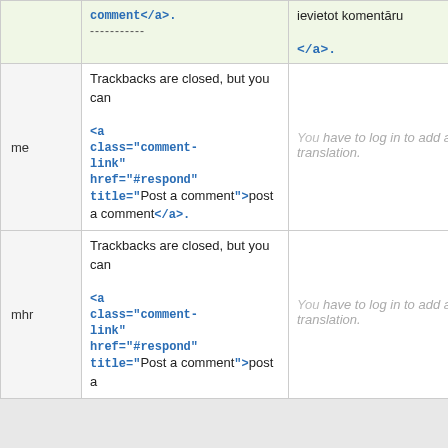|  | Source | Translation | Action |
| --- | --- | --- | --- |
|  | comment</a>.
----------- | ievietot komentāru
</a>. |  |
| me | Trackbacks are closed, but you can <a class="comment-link" href="#respond" title="Post a comment">post a comment</a>. | You have to log in to add a translation. | Details |
| mhr | Trackbacks are closed, but you can <a class="comment-link" href="#respond" title="Post a comment">post a comment</a>. | You have to log in to add a translation. | Details |